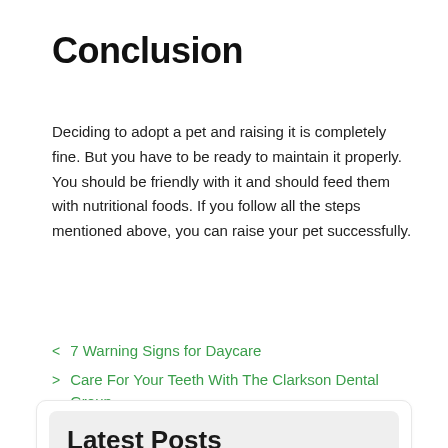Conclusion
Deciding to adopt a pet and raising it is completely fine. But you have to be ready to maintain it properly. You should be friendly with it and should feed them with nutritional foods. If you follow all the steps mentioned above, you can raise your pet successfully.
< 7 Warning Signs for Daycare
> Care For Your Teeth With The Clarkson Dental Group
Latest Posts